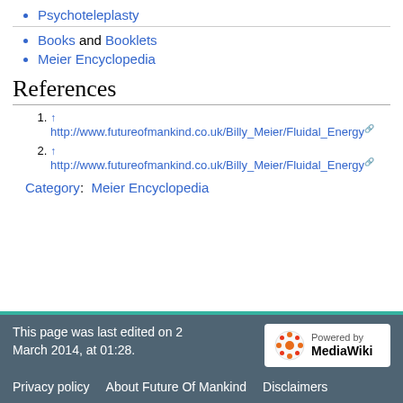Psychoteleplasty
Books and Booklets
Meier Encyclopedia
References
↑ http://www.futureofmankind.co.uk/Billy_Meier/Fluidal_Energy
↑ http://www.futureofmankind.co.uk/Billy_Meier/Fluidal_Energy
Category: Meier Encyclopedia
This page was last edited on 2 March 2014, at 01:28. Privacy policy About Future Of Mankind Disclaimers